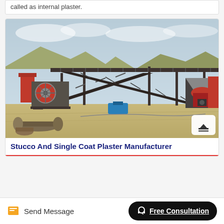called as internal plaster.
[Figure (photo): Industrial stone crushing / aggregate plant with conveyor belts forming an X-shape on a steel frame structure, jaw crusher on the left, cone crusher on the right, set outdoors on sandy ground with rocky hills in background.]
Stucco And Single Coat Plaster Manufacturer
Send Message | Free Consultation